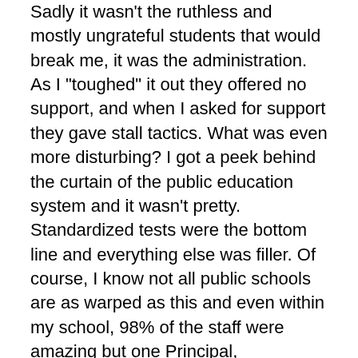Sadly it wasn't the ruthless and mostly ungrateful students that would break me, it was the administration. As I "toughed" it out they offered no support, and when I asked for support they gave stall tactics. What was even more disturbing? I got a peek behind the curtain of the public education system and it wasn't pretty. Standardized tests were the bottom line and everything else was filler. Of course, I know not all public schools are as warped as this and even within my school, 98% of the staff were amazing but one Principal, (reminiscent of Mr. Rooney in Ferris Buller) was enough for me to see that this was not what I had been working so hard to be a part of.
Doing the Right Thing
So needless to say, after a full year of not only being told I was very uncool by the students but feeling very uncool in